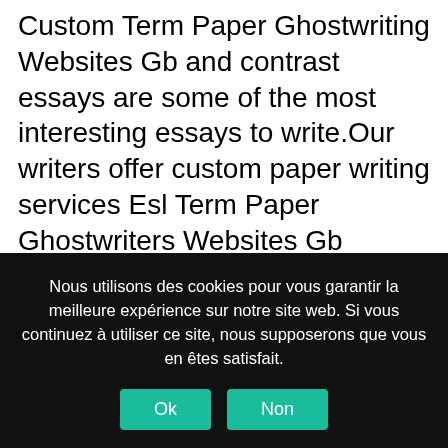Custom Term Paper Ghostwriting Websites Gb and contrast essays are some of the most interesting essays to write.Our writers offer custom paper writing services Esl Term Paper Ghostwriters Websites Gb 24/7.With 100% free cam websites nude sex chat, you can chat live with that centerfold model and see how naughty she can be.Best Essay Writing Company 'Why to go Custom Resume Ghostwriters Website Gb anywhere else when you have the best essay help online right here
Nous utilisons des cookies pour vous garantir la meilleure expérience sur notre site web. Si vous continuez à utiliser ce site, nous supposerons que vous en êtes satisfait.
Ok
Non